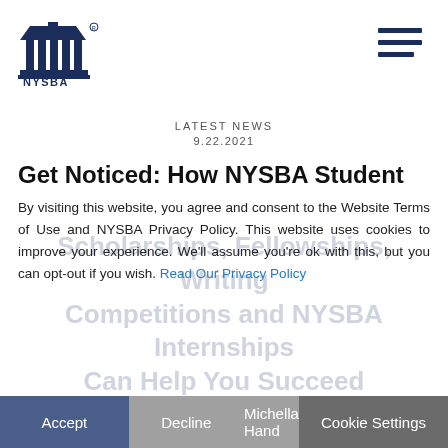NYSBA logo and navigation menu
LATEST NEWS
9.22.2021
Get Noticed: How NYSBA Student Scholarships, Fellowships, Writing Competitions and NYSBA Internships Can Help You Succeed
By visiting this website, you agree and consent to the Website Terms of Use and NYSBA Privacy Policy. This website uses cookies to improve your experience. We'll assume you're ok with this, but you can opt-out if you wish. Read Our Privacy Policy
Accept  Decline  Michella Hand  Cookie Settings